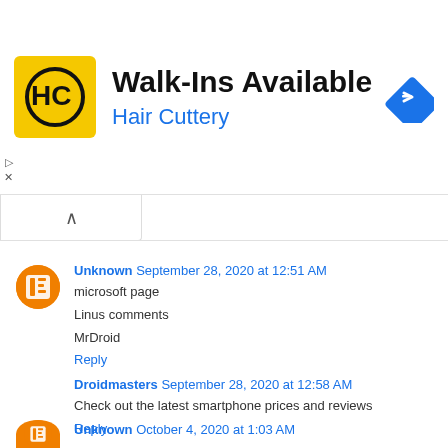[Figure (infographic): Hair Cuttery advertisement banner with yellow logo showing HC initials, text 'Walk-Ins Available' and 'Hair Cuttery', and a blue navigation diamond icon]
Unknown  September 28, 2020 at 12:51 AM
microsoft page
Linus comments
MrDroid
Reply
Droidmasters  September 28, 2020 at 12:58 AM
Check out the latest smartphone prices and reviews
Reply
Unknown  October 4, 2020 at 1:03 AM